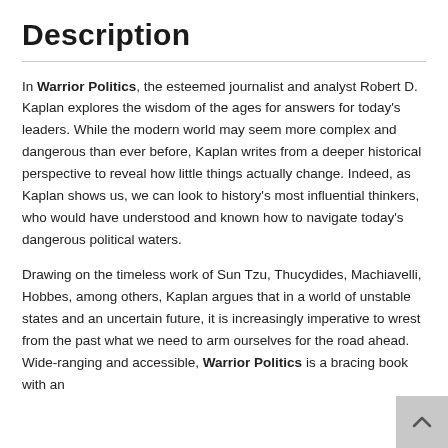Description
In Warrior Politics, the esteemed journalist and analyst Robert D. Kaplan explores the wisdom of the ages for answers for today’s leaders. While the modern world may seem more complex and dangerous than ever before, Kaplan writes from a deeper historical perspective to reveal how little things actually change. Indeed, as Kaplan shows us, we can look to history’s most influential thinkers, who would have understood and known how to navigate today’s dangerous political waters.
Drawing on the timeless work of Sun Tzu, Thucydides, Machiavelli, Hobbes, among others, Kaplan argues that in a world of unstable states and an uncertain future, it is increasingly imperative to wrest from the past what we need to arm ourselves for the road ahead. Wide-ranging and accessible, Warrior Politics is a bracing book with an important lesson to convey that challenges our...